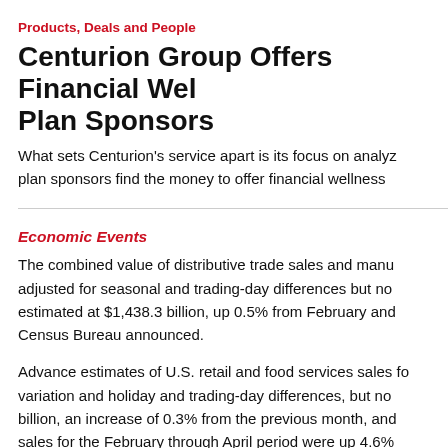Products, Deals and People
Centurion Group Offers Financial Wellness to Plan Sponsors
What sets Centurion’s service apart is its focus on analyzing plan sponsors find the money to offer financial wellness
Economic Events
The combined value of distributive trade sales and manufacturing shipments, adjusted for seasonal and trading-day differences but not for price changes, was estimated at $1,438.3 billion, up 0.5% from February and Census Bureau announced.
Advance estimates of U.S. retail and food services sales for variation and holiday and trading-day differences, but not billion, an increase of 0.3% from the previous month, and sales for the February through April period were up 4.6% ago. The February to March percent change was revised trade sales were up 0.4% from March, and 4.8% above last year.